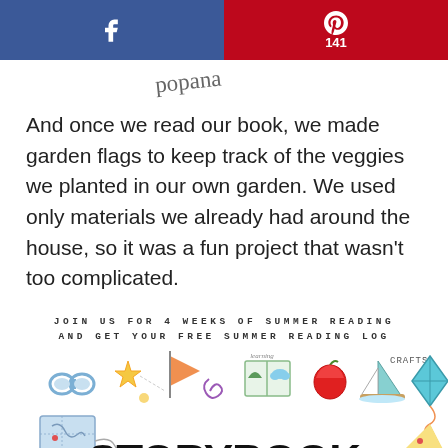f  [Facebook share button]  P 141 [Pinterest share button]
popana (signature/cursive text)
And once we read our book, we made garden flags to keep track of the veggies we planted in our own garden. We used only materials we already had around the house, so it was a fun project that wasn't too complicated.
JOIN US FOR 4 WEEKS OF SUMMER READING AND GET YOUR FREE SUMMER READING LOG
[Figure (illustration): Storybook Summer promotional illustration with doodles of binoculars, star, flag, book, apple, sailboat, kite, map, and the text STORYBOOK SUMMER in bold hand-lettered font with faded text below]